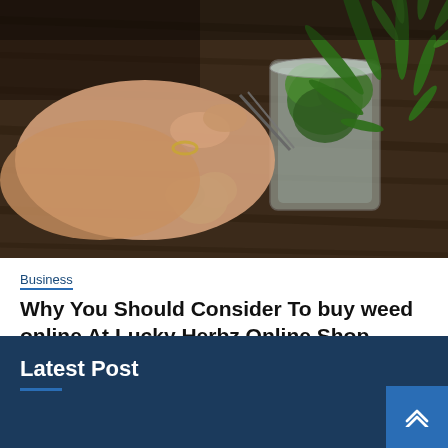[Figure (photo): A hand holding tweezers picking cannabis buds from a glass jar, with green cannabis leaves visible on a dark wooden table surface.]
Business
Why You Should Consider To buy weed online At Lucky Herbz Online Shop
August 30, 2022   3 min read
Latest Post